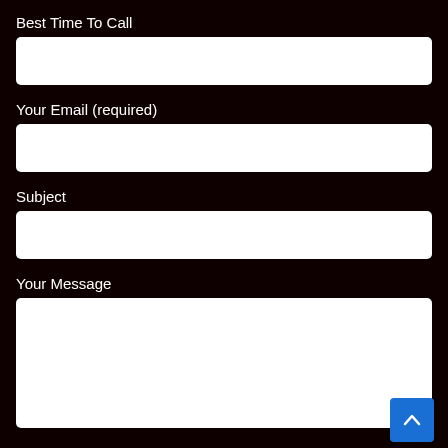Best Time To Call
Your Email (required)
Subject
Your Message